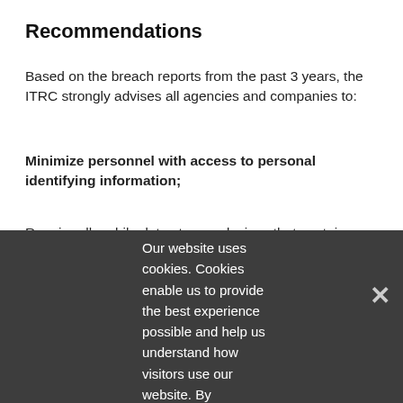Recommendations
Based on the breach reports from the past 3 years, the ITRC strongly advises all agencies and companies to:
Minimize personnel with access to personal identifying information;
Require all mobile data storage devices that contain identifying information to encrypt sensitive data;
Limit the number of people who may take information out of the workplace, and set into policy safe procedures for storage and transport;
When sending back-up records from one location to another, encrypt all data before it leaves the sender and create secure methods for storage of the information, whether electronic or paper;
Properly destroy all paper documents prior to disposal.
If they are in a storage unit that is relinquished, ensure